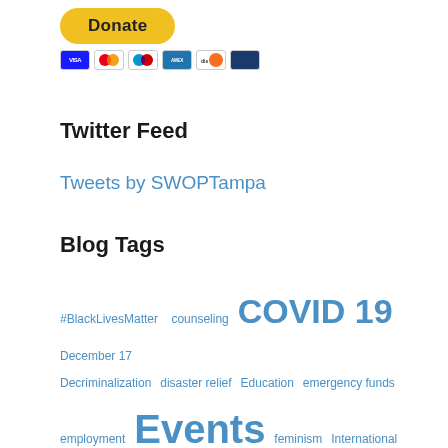[Figure (other): Donate button (yellow pill-shaped button) with payment card icons below (VISA, Mastercard, Maestro, AmEx, Discover, another card)]
Twitter Feed
Tweets by SWOPTampa
Blog Tags
#BlackLivesMatter  counseling  COVID 19  December 17  Decriminalization  disaster relief  Education  emergency funds  employment  Events  feminism  International Whores Day  Intl Sex Worker Rights Day March 3rd  Jobs and Education  meetings  NYC  online help  San Francisco  taxes